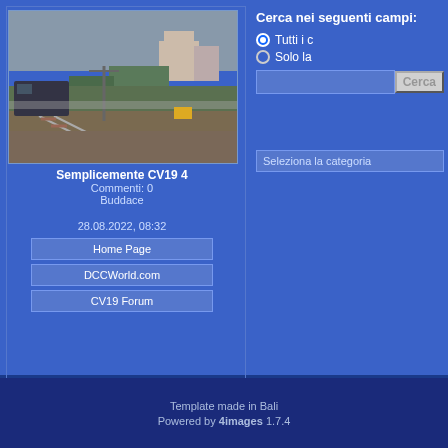[Figure (photo): Photo of a model train layout showing railway tracks and a green grassy area with buildings in background]
Semplicemente CV19 4
Commenti: 0
Buddace
28.08.2022, 08:32
Home Page
DCCWorld.com
CV19 Forum
Cerca nei seguenti campi:
Tutti i c
Solo la
Seleziona la categoria
Template made in Bali
Powered by 4images 1.7.4